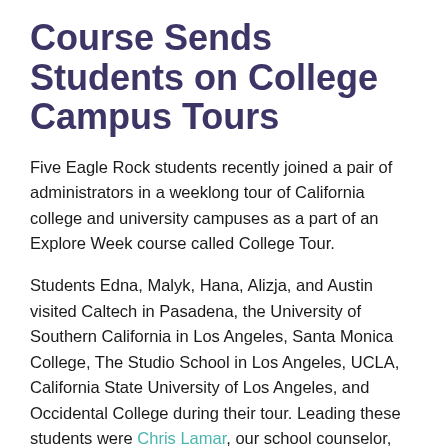Course Sends Students on College Campus Tours
Five Eagle Rock students recently joined a pair of administrators in a weeklong tour of California college and university campuses as a part of an Explore Week course called College Tour.
Students Edna, Malyk, Hana, Alizja, and Austin visited Caltech in Pasadena, the University of Southern California in Los Angeles, Santa Monica College, The Studio School in Los Angeles, UCLA, California State University of Los Angeles, and Occidental College during their tour. Leading these students were Chris Lamar, our school counselor, and Laila Hosseinzadeh, our 2019/2020 Public Allies Fellow in the Life After Eagle Rock.